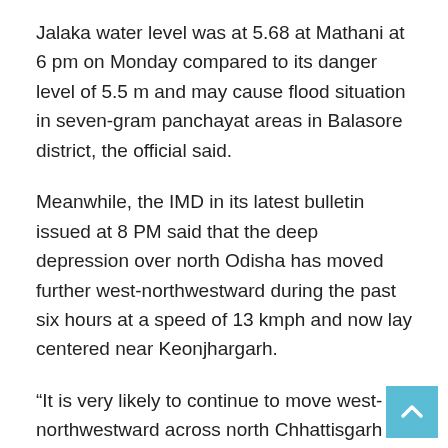Jalaka water level was at 5.68 at Mathani at 6 pm on Monday compared to its danger level of 5.5 m and may cause flood situation in seven-gram panchayat areas in Balasore district, the official said.
Meanwhile, the IMD in its latest bulletin issued at 8 PM said that the deep depression over north Odisha has moved further west-northwestward during the past six hours at a speed of 13 kmph and now lay centered near Keonjhargarh.
“It is very likely to continue to move west-northwestward across north Chhattisgarh & Madhya Pradesh during the next 48 hours. It is likely to weaken into a depression during the next 12 hours,” the met office said.
In the morning, the deep depression had crossed the coast near Chandbali in Bhadrak district causing widespread rain